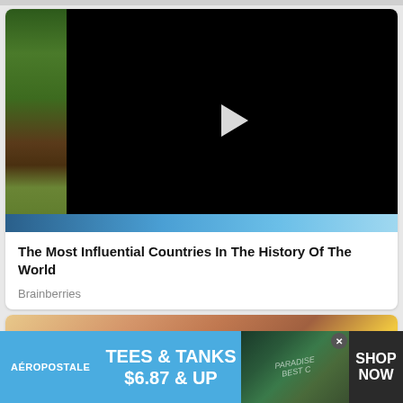[Figure (screenshot): Video player with black background and white play button, with aerial/nature imagery on the left side and a blue gradient strip at the bottom]
The Most Influential Countries In The History Of The World
Brainberries
[Figure (photo): Partial photo visible at bottom of card]
[Figure (screenshot): Aeropostale advertisement banner: TEES & TANKS $6.87 & UP with SHOP NOW button]